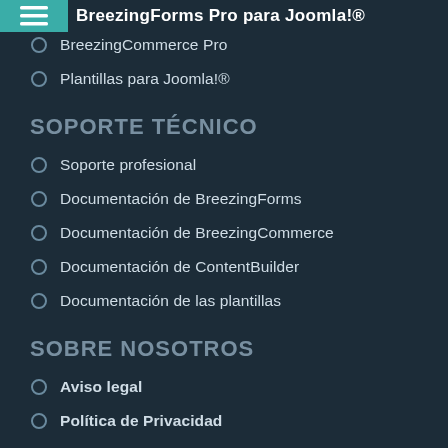CLUB DE MIEMBROS
BreezingForms Pro para Joomla!®
BreezingCommerce Pro
Plantillas para Joomla!®
SOPORTE TÉCNICO
Soporte profesional
Documentación de BreezingForms
Documentación de BreezingCommerce
Documentación de ContentBuilder
Documentación de las plantillas
SOBRE NOSOTROS
Aviso legal
Política de Privacidad
Follow @twitterapi